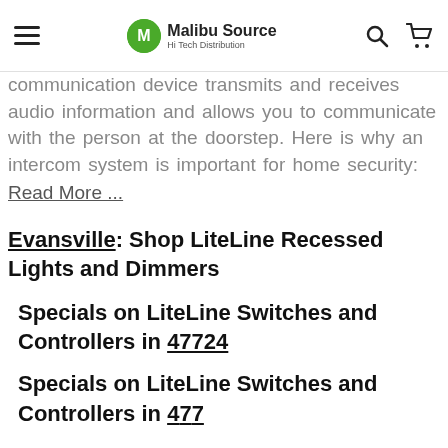Malibu Source Hi Tech Distribution
communication device transmits and receives audio information and allows you to communicate with the person at the doorstep. Here is why an intercom system is important for home security:
Read More ...
Evansville: Shop LiteLine Recessed Lights and Dimmers
Specials on LiteLine Switches and Controllers in 47724
Specials on LiteLine Switches and Controllers in 47724